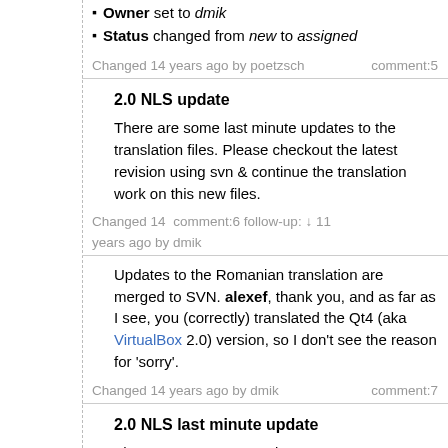Owner set to dmik
Status changed from new to assigned
Changed 14 years ago by poetzsch   comment:5
2.0 NLS update
There are some last minute updates to the translation files. Please checkout the latest revision using svn & continue the translation work on this new files.
Changed 14 years ago by dmik   comment:6 follow-up: ↓ 11
Updates to the Romanian translation are merged to SVN. alexef, thank you, and as far as I see, you (correctly) translated the Qt4 (aka VirtualBox 2.0) version, so I don't see the reason for 'sorry'.
Changed 14 years ago by dmik   comment:7
2.0 NLS last minute update
There are some more minor